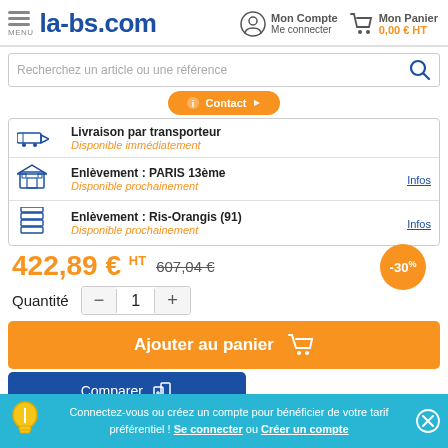la-bs.com | Mon Compte Me connecter | Mon Panier 0,00 € HT
Recherchez un article ou une référence
|  | Livraison | Disponibilité | Infos |
| --- | --- | --- | --- |
| [truck icon] | Livraison par transporteur | Disponible immédiatement |  |
| [store icon] | Enlèvement : PARIS 13ème | Disponible prochainement | Infos |
| [warehouse icon] | Enlèvement : Ris-Orangis (91) | Disponible prochainement | Infos |
422,89 € HT  607,04 €  -30%
Quantité  - 1 +
Ajouter au panier
Comparer
Connectez-vous ou créez un compte pour bénéficier de votre tarif préférentiel ! Se connecter ou Créer un compte